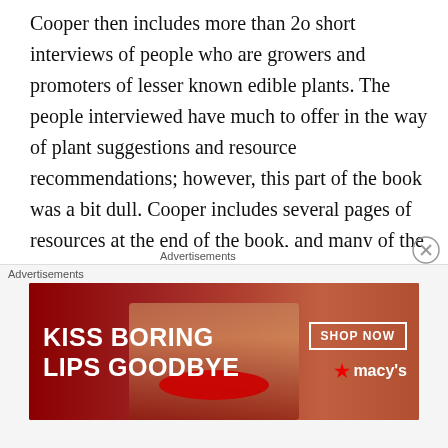Cooper then includes more than 2o short interviews of people who are growers and promoters of lesser known edible plants. The people interviewed have much to offer in the way of plant suggestions and resource recommendations; however, this part of the book was a bit dull. Cooper includes several pages of resources at the end of the book, and many of the interviewees suggest the same plants and resources, so this section seemed redundant. That being said, there are some great responses to Cooper’s questions, including Owen Smith’s argument for “citizen-led research and breeding projects” and James Wong’s advise to seek out edible houseplants.
Advertisements
[Figure (other): Close button (X circle) for advertisement]
Advertisements
[Figure (other): Macy's advertisement banner: 'KISS BORING LIPS GOODBYE' with SHOP NOW button and macy's logo, featuring a woman's face with red lips]